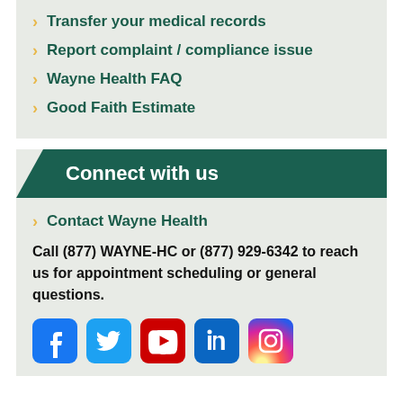Transfer your medical records
Report complaint / compliance issue
Wayne Health FAQ
Good Faith Estimate
Connect with us
Contact Wayne Health
Call (877) WAYNE-HC or (877) 929-6342 to reach us for appointment scheduling or general questions.
[Figure (infographic): Social media icons: Facebook, Twitter, YouTube, LinkedIn, Instagram]